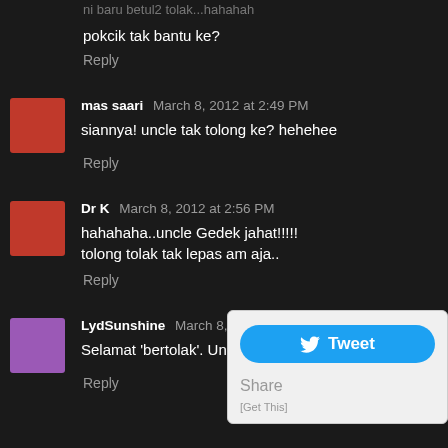ni baru betul2 tolak...hahahah
pokcik tak bantu ke?
Reply
mas saari  March 8, 2012 at 2:49 PM
siannya! uncle tak tolong ke? hehehee
Reply
Dr K  March 8, 2012 at 2:56 PM
hahahaha..uncle Gedek jahat!!!!! tolong tolak tak lepas am aja..
Reply
LydSunshine  March 8, 2012 at 3:00 PM
Selamat 'bertolak'. Uncle tak tolong tolak ke.
Reply
[Figure (screenshot): Twitter Tweet button popup with Share label and [Get This] link]